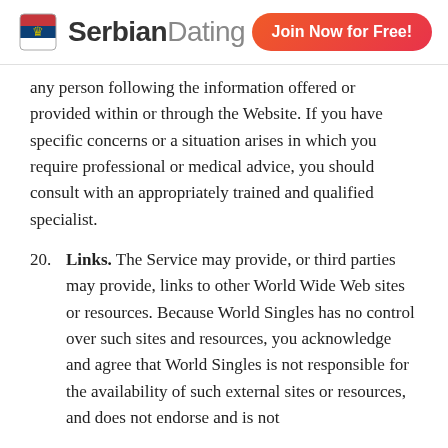Serbian Dating | Join Now for Free!
any person following the information offered or provided within or through the Website. If you have specific concerns or a situation arises in which you require professional or medical advice, you should consult with an appropriately trained and qualified specialist.
20. Links. The Service may provide, or third parties may provide, links to other World Wide Web sites or resources. Because World Singles has no control over such sites and resources, you acknowledge and agree that World Singles is not responsible for the availability of such external sites or resources, and does not endorse and is not